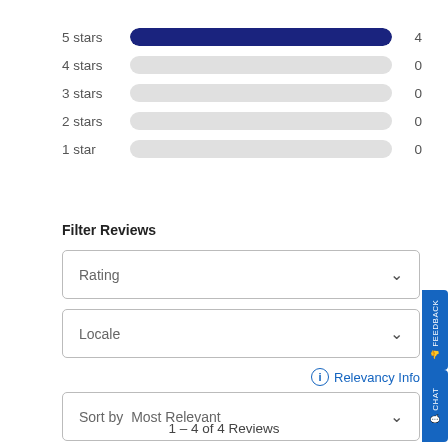[Figure (bar-chart): Star ratings breakdown]
Filter Reviews
Rating
Locale
Relevancy Info
Sort by  Most Relevant
1 – 4 of 4 Reviews